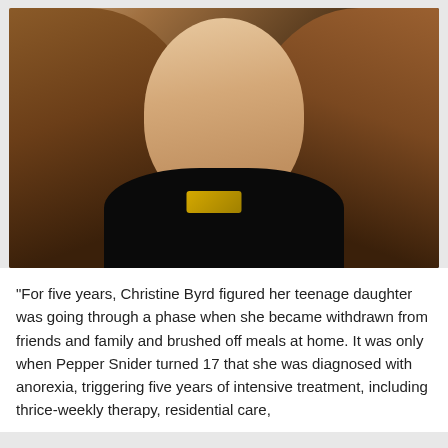[Figure (photo): A young woman with long auburn/red curly hair looking downward, wearing a black top with a lanyard/badge. Photo is taken in low light with warm tones.]
"For five years, Christine Byrd figured her teenage daughter was going through a phase when she became withdrawn from friends and family and brushed off meals at home. It was only when Pepper Snider turned 17 that she was diagnosed with anorexia, triggering five years of intensive treatment, including thrice-weekly therapy, residential care,